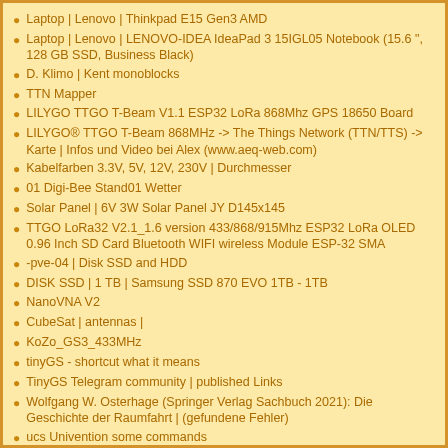Laptop | Lenovo | Thinkpad E15 Gen3 AMD
Laptop | Lenovo | LENOVO-IDEA IdeaPad 3 15IGL05 Notebook (15.6 ", 128 GB SSD, Business Black)
D. Klimo | Kent monoblocks
TTN Mapper
LILYGO TTGO T-Beam V1.1 ESP32 LoRa 868Mhz GPS 18650 Board
LILYGO® TTGO T-Beam 868MHz -> The Things Network (TTN/TTS) -> Karte | Infos und Video bei Alex (www.aeq-web.com)
Kabelfarben 3.3V, 5V, 12V, 230V | Durchmesser
01 Digi-Bee Stand01 Wetter
Solar Panel | 6V 3W Solar Panel JY D145x145
TTGO LoRa32 V2.1_1.6 version 433/868/915Mhz ESP32 LoRa OLED 0.96 Inch SD Card Bluetooth WIFI wireless Module ESP-32 SMA
-pve-04 | Disk SSD and HDD
DISK SSD | 1 TB | Samsung SSD 870 EVO 1TB - 1TB
NanoVNA V2
CubeSat | antennas |
KoZo_GS3_433MHz
tinyGS - shortcut what it means
TinyGS Telegram community | published Links
Wolfgang W. Osterhage (Springer Verlag Sachbuch 2021): Die Geschichte der Raumfahrt | (gefundene Fehler)
ucs Univention some commands
SMA-Stecker / SMA-Buchse
H-155 / 50Ω – Koaxialkabel